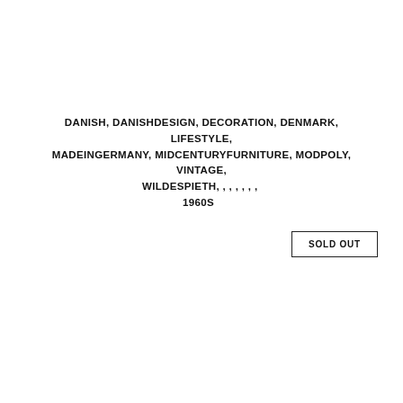DANISH, DANISHDESIGN, DECORATION, DENMARK, LIFESTYLE, MADEINGERMANY, MIDCENTURYFURNITURE, MODPOLY, VINTAGE, WILDESPIETH, ??????, ??, ????, ???, ????, ??, ?? 1960S ??????? ???
SOLD OUT